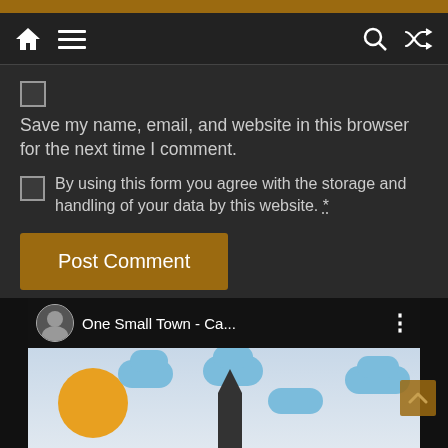Navigation bar with home, menu, search, and shuffle icons
Save my name, email, and website in this browser for the next time I comment.
By using this form you agree with the storage and handling of your data by this website. *
Post Comment
[Figure (screenshot): Video thumbnail showing 'One Small Town - Ca...' with a cartoon town scene featuring clouds, a sun, and a church steeple]